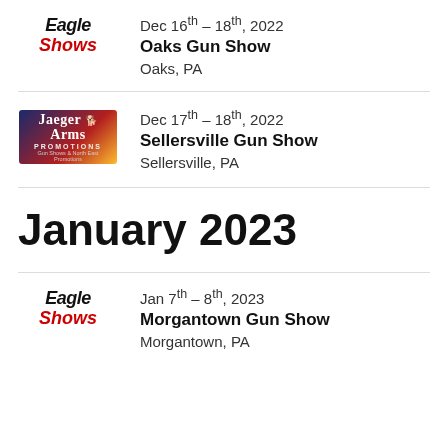[Figure (logo): Eagle Shows logo - 'Eagle' in bold italic black, 'Shows' in bold italic red]
Dec 16th – 18th, 2022
Oaks Gun Show
Oaks, PA
[Figure (logo): Jaeger Arms Promotions logo - dark blue/red gradient background with white serif text]
Dec 17th – 18th, 2022
Sellersville Gun Show
Sellersville, PA
January 2023
[Figure (logo): Eagle Shows logo - 'Eagle' in bold italic black, 'Shows' in bold italic red]
Jan 7th – 8th, 2023
Morgantown Gun Show
Morgantown, PA